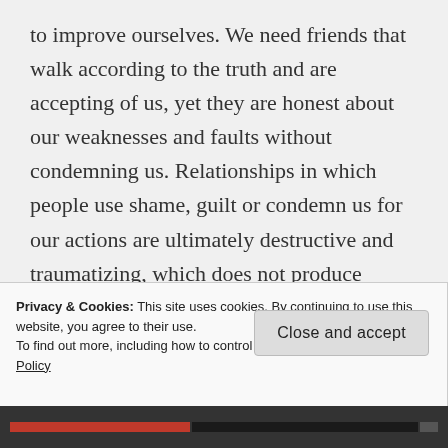to improve ourselves. We need friends that walk according to the truth and are accepting of us, yet they are honest about our weaknesses and faults without condemning us. Relationships in which people use shame, guilt or condemn us for our actions are ultimately destructive and traumatizing, which does not produce emotional or spiritual growth. These are the unsafe people that require us to be different than who we are, in order to be accepted and conditionally loved by them.
Privacy & Cookies: This site uses cookies. By continuing to use this website, you agree to their use.
To find out more, including how to control cookies, see here: Cookie Policy
Close and accept